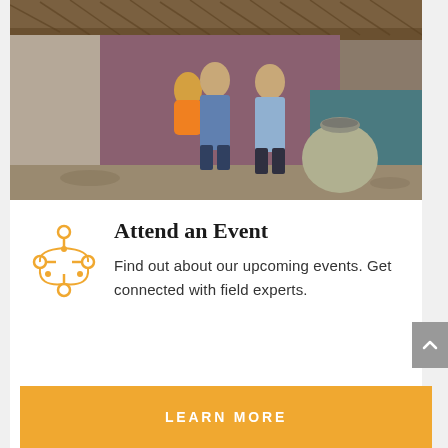[Figure (photo): A family of three standing in front of a simple dwelling with a thatched roof. A man holds a young child in an orange shirt, and a woman stands beside them. A large clay pot is visible to the right.]
Attend an Event
Find out about our upcoming events. Get connected with field experts.
LEARN MORE